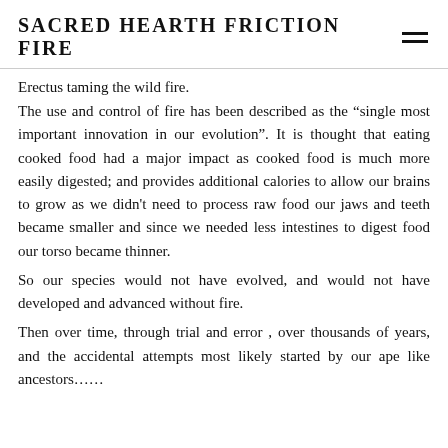SACRED HEARTH FRICTION FIRE
Erectus taming the wild fire.
The use and control of fire has been described as the “single most important innovation in our evolution”. It is thought that eating cooked food had a major impact as cooked food is much more easily digested; and provides additional calories to allow our brains to grow as we didn’t need to process raw food our jaws and teeth became smaller and since we needed less intestines to digest food our torso became thinner.
So our species would not have evolved, and would not have developed and advanced without fire.
Then over time, through trial and error , over thousands of years, and the accidental attempts most likely started by our ape like ancestors……